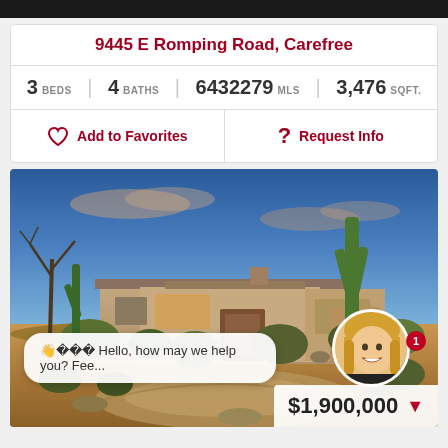9445 E Romping Road, Carefree
3 BEDS  4 BATHS  6432279 MLS  3,476 SQFT.
Add to Favorites  |  Request Info
[Figure (photo): Desert home exterior with saguaro cactus, desert landscaping, at dusk with blue sky. Chat bubble overlay reads: Hello, how may we help you? Fee... Agent photo in circle with badge showing 1. Price bar shows $1,900,000 with red down arrow.]